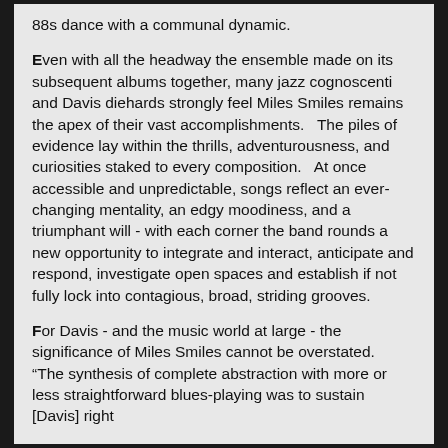88s dance with a communal dynamic.
Even with all the headway the ensemble made on its subsequent albums together, many jazz cognoscenti and Davis diehards strongly feel Miles Smiles remains the apex of their vast accomplishments.   The piles of evidence lay within the thrills, adventurousness, and curiosities staked to every composition.   At once accessible and unpredictable, songs reflect an ever-changing mentality, an edgy moodiness, and a triumphant will - with each corner the band rounds a new opportunity to integrate and interact, anticipate and respond, investigate open spaces and establish if not fully lock into contagious, broad, striding grooves.
For Davis - and the music world at large - the significance of Miles Smiles cannot be overstated.   "The synthesis of complete abstraction with more or less straightforward blues-playing was to sustain [Davis] right